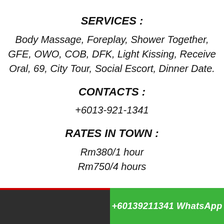SERVICES :
Body Massage, Foreplay, Shower Together, GFE, OWO, COB, DFK, Light Kissing, Receive Oral, 69, City Tour, Social Escort, Dinner Date.
CONTACTS :
+6013-921-1341
RATES IN TOWN :
Rm380/1 hour
Rm750/4 hours
+60139211341 WhatsApp